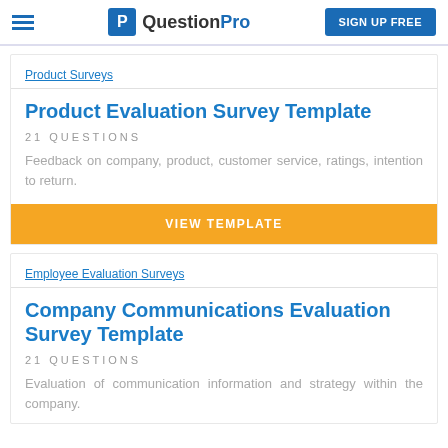QuestionPro — SIGN UP FREE
Product Surveys
Product Evaluation Survey Template
21 QUESTIONS
Feedback on company, product, customer service, ratings, intention to return.
VIEW TEMPLATE
Employee Evaluation Surveys
Company Communications Evaluation Survey Template
21 QUESTIONS
Evaluation of communication information and strategy within the company.